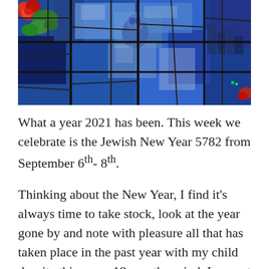[Figure (photo): A stained glass window artwork featuring blue tones with figures and shapes, red roses visible on the left, green foliage, and dark leading lines separating colored glass panels.]
What a year 2021 has been. This week we celebrate is the Jewish New Year 5782 from September 6th- 8th.
Thinking about the New Year, I find it's always time to take stock, look at the year gone by and note with pleasure all that has taken place in the past year with my child despite this crazy 18 month period. I am not a religious person but I do like to celebrate holidays of all kinds as a